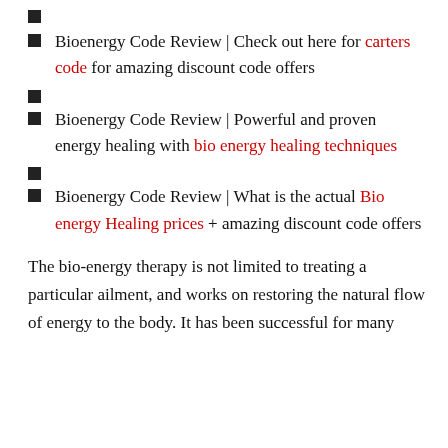Bioenergy Code Review | Check out here for carters code for amazing discount code offers
Bioenergy Code Review | Powerful and proven energy healing with bio energy healing techniques
Bioenergy Code Review | What is the actual Bio energy Healing prices + amazing discount code offers
The bio-energy therapy is not limited to treating a particular ailment, and works on restoring the natural flow of energy to the body. It has been successful for many